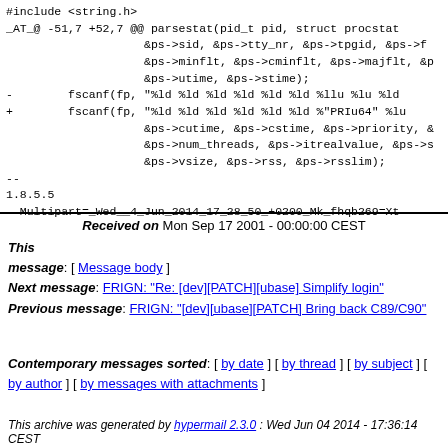#include <string.h>
_AT_@ -51,7 +52,7 @@ parsestat(pid_t pid, struct procstat
                    &ps->sid, &ps->tty_nr, &ps->tpgid, &ps->f
                    &ps->minflt, &ps->cminflt, &ps->majflt, &p
                    &ps->utime, &ps->stime);
-        fscanf(fp, "%ld %ld %ld %ld %ld %ld %llu %lu %ld
+        fscanf(fp, "%ld %ld %ld %ld %ld %ld %"PRIu64" %lu
                    &ps->cutime, &ps->cstime, &ps->priority, &
                    &ps->num_threads, &ps->itrealvalue, &ps->s
                    &ps->vsize, &ps->rss, &ps->rsslim);
--
1.8.5.5
--Multipart=_Wed__4_Jun_2014_17_28_50_+0200_Mk_fhqb269=Xt
Received on Mon Sep 17 2001 - 00:00:00 CEST
This message: [ Message body ]
Next message: FRIGN: "Re: [dev][PATCH][ubase] Simplify login"
Previous message: FRIGN: "[dev][ubase][PATCH] Bring back C89/C90"
Contemporary messages sorted: [ by date ] [ by thread ] [ by subject ] [ by author ] [ by messages with attachments ]
This archive was generated by hypermail 2.3.0 : Wed Jun 04 2014 - 17:36:14 CEST